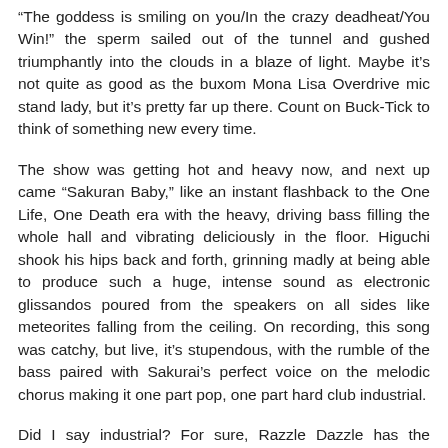“The goddess is smiling on you/In the crazy deadheat/You Win!” the sperm sailed out of the tunnel and gushed triumphantly into the clouds in a blaze of light. Maybe it’s not quite as good as the buxom Mona Lisa Overdrive mic stand lady, but it’s pretty far up there. Count on Buck-Tick to think of something new every time.
The show was getting hot and heavy now, and next up came “Sakuran Baby,” like an instant flashback to the One Life, One Death era with the heavy, driving bass filling the whole hall and vibrating deliciously in the floor. Higuchi shook his hips back and forth, grinning madly at being able to produce such a huge, intense sound as electronic glissandos poured from the speakers on all sides like meteorites falling from the ceiling. On recording, this song was catchy, but live, it’s stupendous, with the rumble of the bass paired with Sakurai’s perfect voice on the melodic chorus making it one part pop, one part hard club industrial.
Did I say industrial? For sure, Razzle Dazzle has the electronic funk and humorous weirdness that was also a pervading theme on Cosmos, but no one in the whole hall